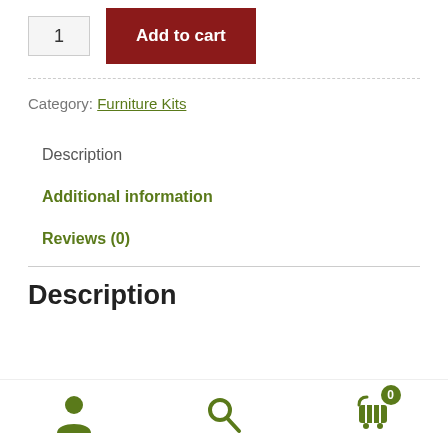1
Add to cart
Category: Furniture Kits
Description
Additional information
Reviews (0)
Description
[Figure (infographic): Bottom navigation bar with person icon, search icon, and cart icon with badge showing 0]